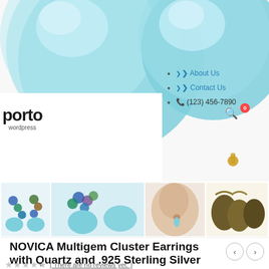[Figure (screenshot): E-commerce product page screenshot showing NOVICA jewelry with teal/aquamarine gemstone earrings. Header area has large teal gem orbs, porto wordpress logo, navigation links (About Us, Contact Us), phone number, search icon, and cart badge. Below is a thumbnail strip with 5 product images. Product title reads 'NOVICA Multigem Cluster Earrings with Quartz and .925 Sterling Silver Hooks, Thai Joy'. Star rating with no reviews yet.]
NOVICA Multigem Cluster Earrings with Quartz and .925 Sterling Silver Hooks, Thai Joy'
( There are no reviews yet. )